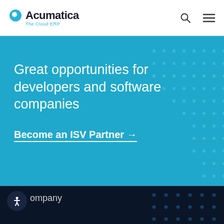Acumatica - The Cloud ERP
Great opportunities for developers and software companies
Become an ISV Partner →
Company